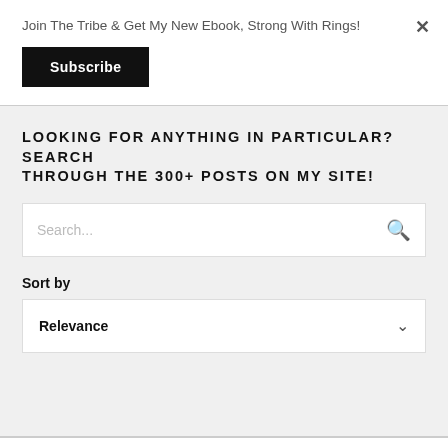Join The Tribe & Get My New Ebook, Strong With Rings!
×
Subscribe
LOOKING FOR ANYTHING IN PARTICULAR? SEARCH THROUGH THE 300+ POSTS ON MY SITE!
Search...
Sort by
Relevance